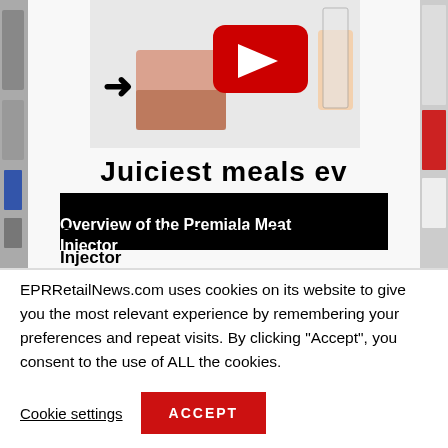[Figure (screenshot): YouTube video thumbnail showing meat injector content with play button overlay, arrow pointing right, hands holding items. Title text 'Juiciest meals ev' visible below thumbnail. Black redacted bar below title. Text 'Overview of the Premiala Meat Injector' at bottom of image area.]
EPRRetailNews.com uses cookies on its website to give you the most relevant experience by remembering your preferences and repeat visits. By clicking “Accept”, you consent to the use of ALL the cookies.
Cookie settings
ACCEPT